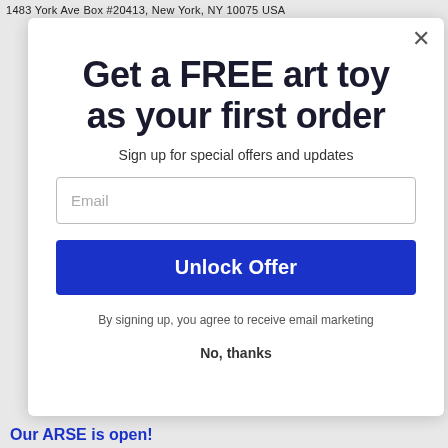1483 York Ave Box #20413, New York, NY 10075 USA
Get a FREE art toy as your first order
Sign up for special offers and updates
Email
Unlock Offer
By signing up, you agree to receive email marketing
No, thanks
Our ARSE is open!